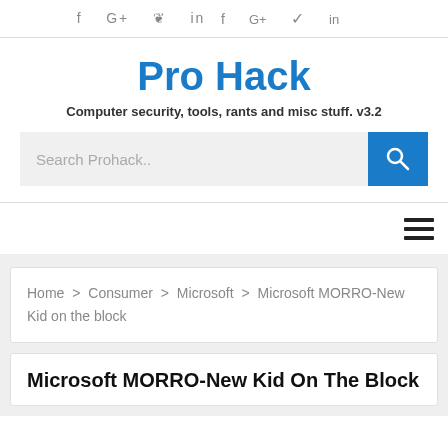f  G+  𝕏  in
Pro Hack
Computer security, tools, rants and misc stuff. v3.2
[Figure (other): Search bar with text 'Search Prohack..' and a blue search button with magnifying glass icon]
[Figure (other): Hamburger menu icon (three horizontal lines)]
Home > Consumer > Microsoft > Microsoft MORRO-New Kid on the block
Microsoft MORRO-New Kid On The Block